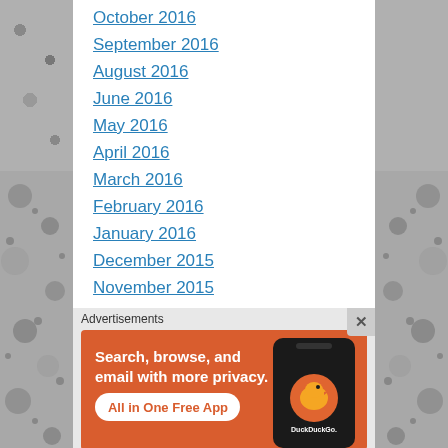October 2016
September 2016
August 2016
June 2016
May 2016
April 2016
March 2016
February 2016
January 2016
December 2015
November 2015
October 2015
Advertisements
[Figure (screenshot): DuckDuckGo advertisement banner on orange background with phone image. Text: Search, browse, and email with more privacy. All in One Free App. DuckDuckGo logo.]